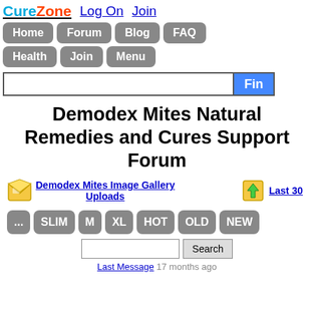CureZone  Log On  Join
[Figure (screenshot): Navigation buttons: Home, Forum, Blog, FAQ, Health, Join, Menu]
[Figure (screenshot): Search bar with text input and Find button]
Demodex Mites Natural Remedies and Cures Support Forum
[Figure (screenshot): Demodex Mites Image Gallery Uploads link with envelope icon, and Last 30 link with upload icon]
[Figure (screenshot): Navigation pills: ... SLIM M XL HOT OLD NEW]
[Figure (screenshot): Search input with Search button]
Last Message  17 months ago